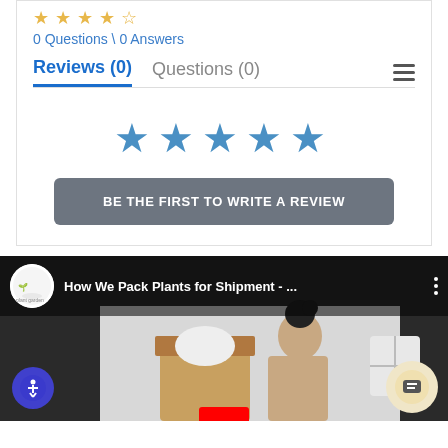[Figure (other): Five gold/outline star rating icons in a row]
0 Questions \ 0 Answers
Reviews (0)   Questions (0)
[Figure (other): Five blue solid star icons for rating]
BE THE FIRST TO WRITE A REVIEW
[Figure (screenshot): YouTube video thumbnail showing 'How We Pack Plants for Shipment - ...' with a person packing plants, channel logo, accessibility button, and chat button]